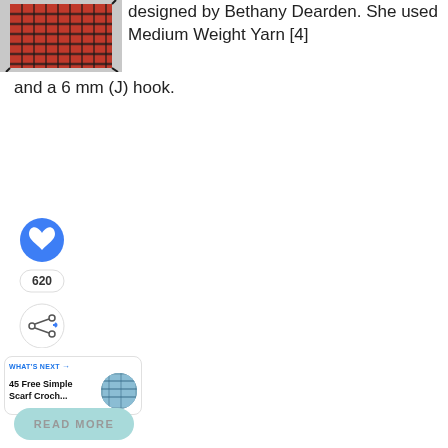[Figure (photo): Red and black crocheted triangular shawl with tassels, displayed on a flat surface]
designed by Bethany Dearden. She used Medium Weight Yarn [4] and a 6 mm (J) hook.
[Figure (infographic): Social interaction buttons: blue heart/like button, count badge showing 620, and share button]
[Figure (infographic): What's Next card with label 'WHAT'S NEXT →', title '45 Free Simple Scarf Croch...', and thumbnail image]
[Figure (screenshot): READ MORE button in teal/mint rounded rectangle]